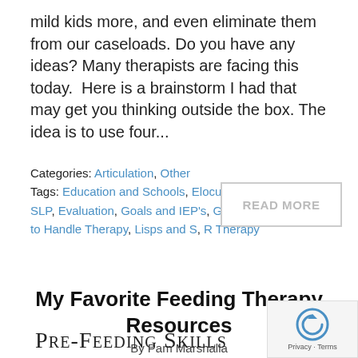mild kids more, and even eliminate them from our caseloads. Do you have any ideas? Many therapists are facing this today.  Here is a brainstorm I had that may get you thinking outside the box. The idea is to use four...
Categories: Articulation, Other Tags: Education and Schools, Elocution, Ethics of an SLP, Evaluation, Goals and IEP's, Group Therapy, How to Handle Therapy, Lisps and S, R Therapy
READ MORE
My Favorite Feeding Therapy Resources
By Pam Marshalla
[Figure (illustration): Partial view of a book cover with the text PRE-FEEDING SKILLS in serif small-caps font]
[Figure (other): reCAPTCHA badge with circular arrow icon and Privacy - Terms text]